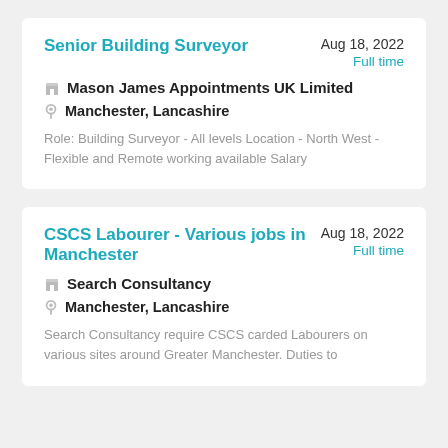Senior Building Surveyor
Aug 18, 2022 Full time
Mason James Appointments UK Limited
Manchester, Lancashire
Role: Building Surveyor - All levels Location - North West - Flexible and Remote working available Salary
CSCS Labourer - Various jobs in Manchester
Aug 18, 2022 Full time
Search Consultancy
Manchester, Lancashire
Search Consultancy require CSCS carded Labourers on various sites around Greater Manchester. Duties to